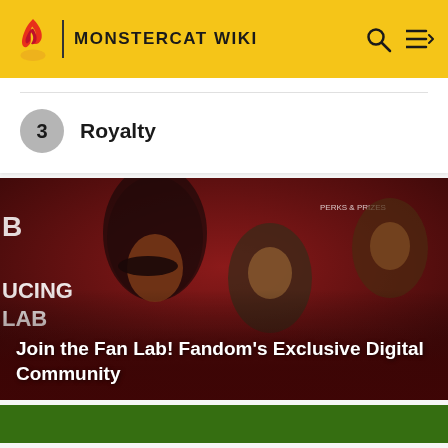MONSTERCAT WIKI
3   Royalty
[Figure (photo): Fan Lab promotional banner showing characters from Batwoman, an unidentified male character, and a Dune character on a dark red background. Text overlay reads 'PERKS & PRIZES' and partially visible 'UCING LAB' text on left side.]
Join the Fan Lab! Fandom's Exclusive Digital Community
[Figure (photo): Partial bottom strip showing a green-themed image, partially cut off at the bottom of the page.]